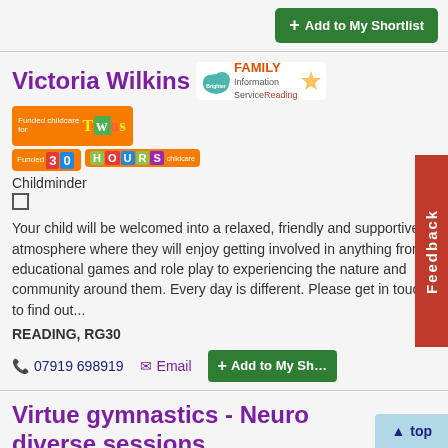Add to My Shortlist
Victoria Wilkins
[Figure (logo): Family Information Service Reading logo and Funded childcare for Twos badge]
[Figure (logo): Funded 30 Hours childcare badge]
Childminder
Your child will be welcomed into a relaxed, friendly and supportive atmosphere where they will enjoy getting involved in anything from educational games and role play to experiencing the nature and community around them. Every day is different. Please get in touch to find out...
READING, RG30
07919 698919
Email
Add to My Shortlist
Virtue gymnastics - Neuro diverse sessions
Super Sundays
At Virtue we are proud to cater sessions specifically for neuro